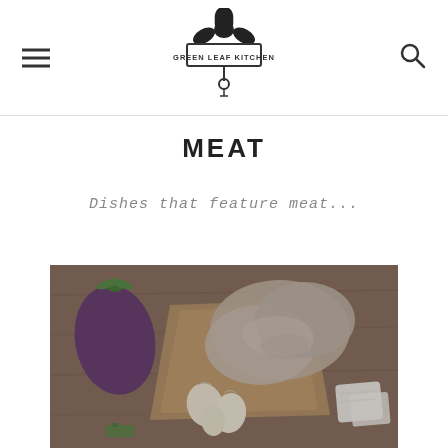Green Leaf Kitchen — navigation header with logo, menu icon, and search icon
MEAT
Dishes that feature meat...
[Figure (photo): Raw meat and vegetables including an eggplant/aubergine, chicken pieces, garlic cloves, and tofu/cheese blocks arranged on a wooden surface with brown paper]